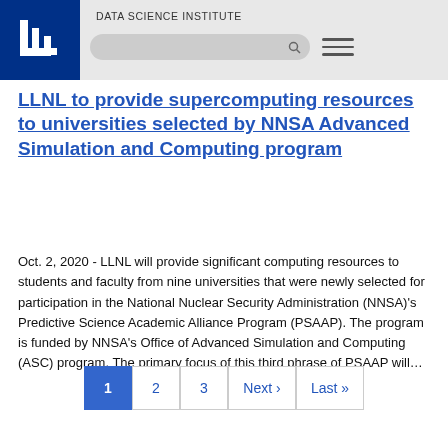DATA SCIENCE INSTITUTE
LLNL to provide supercomputing resources to universities selected by NNSA Advanced Simulation and Computing program
Oct. 2, 2020 - LLNL will provide significant computing resources to students and faculty from nine universities that were newly selected for participation in the National Nuclear Security Administration (NNSA)'s Predictive Science Academic Alliance Program (PSAAP). The program is funded by NNSA's Office of Advanced Simulation and Computing (ASC) program. The primary focus of this third phrase of PSAAP will…